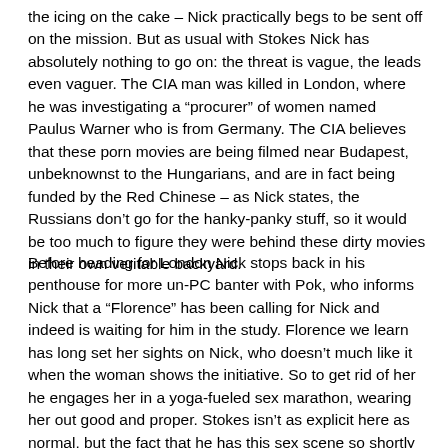the icing on the cake – Nick practically begs to be sent off on the mission. But as usual with Stokes Nick has absolutely nothing to go on: the threat is vague, the leads even vaguer. The CIA man was killed in London, where he was investigating a “procurer” of women named Paulus Warner who is from Germany. The CIA believes that these porn movies are being filmed near Budapest, unbeknownst to the Hungarians, and are in fact being funded by the Red Chinese – as Nick states, the Russians don’t go for the hanky-panky stuff, so it would be too much to figure they were behind these dirty movies in their own veritable backyard.
Before heading for London Nick stops back in his penthouse for more un-PC banter with Pok, who informs Nick that a “Florence” has been calling for Nick and indeed is waiting for him in the study. Florence we learn has long set her sights on Nick, who doesn’t much like it when the woman shows the initiative. So to get rid of her he engages her in a yoga-fueled sex marathon, wearing her out good and proper. Stokes isn’t as explicit here as normal, but the fact that he has this sex scene so shortly after the porn movie material –